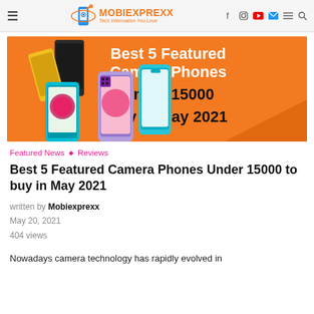MOBIEXPREXX — Tech Information You Love
[Figure (photo): Hero banner image with orange background showing 5 smartphones (Poco X3, Redmi Note 10, Motorola G30, and others) with text: Best 5 Featured Camera Phones Under 15000 buy in May 2021]
Featured News ◇ Reviews
Best 5 Featured Camera Phones Under 15000 to buy in May 2021
written by Mobiexprexx
May 20, 2021
404 views
Nowadays camera technology has rapidly evolved in